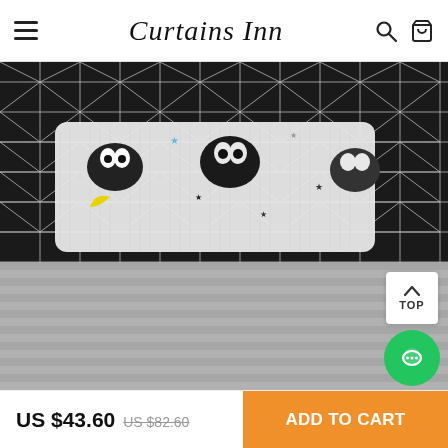Curtains Inn
[Figure (photo): Product photo of a bedding set: a black geometric-patterned duvet cover with a white pillow featuring black cartoon monster faces, yellow and blue stars. Below is a blurred grey striped fabric.]
US $43.60  US $82.60
ADD TO CART